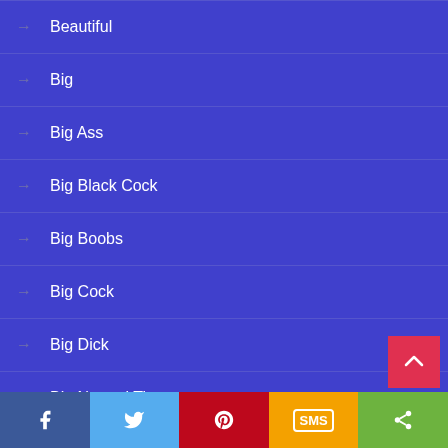Beautiful
Big
Big Ass
Big Black Cock
Big Boobs
Big Cock
Big Dick
Big Natural Tits